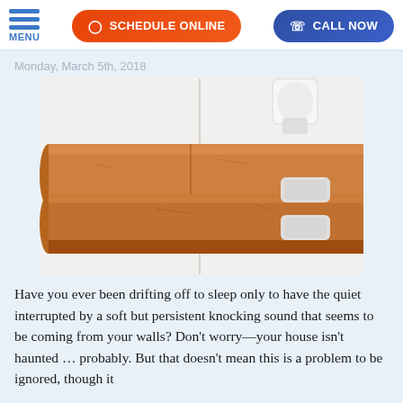MENU | SCHEDULE ONLINE | CALL NOW
Monday, March 5th, 2018
[Figure (photo): Two copper pipes mounted on a white wall with white pipe clips/brackets holding them in place.]
Have you ever been drifting off to sleep only to have the quiet interrupted by a soft but persistent knocking sound that seems to be coming from your walls? Don't worry—your house isn't haunted … probably. But that doesn't mean this is a problem to be ignored, though it